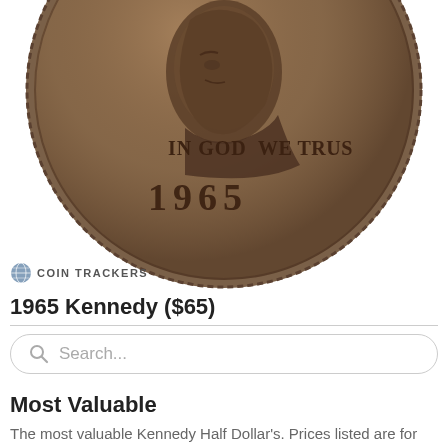[Figure (photo): Close-up photograph of a 1965 Kennedy Half Dollar coin obverse, showing JFK profile, 'IN GOD WE TRUST' inscription and year 1965, bronze/copper toned]
COIN TRACKERS
1965 Kennedy ($65)
[Figure (other): Search bar with magnifying glass icon and placeholder text 'Search...']
Most Valuable
The most valuable Kennedy Half Dollar's. Prices listed are for MS-65 certified. Visit the link to learn more about each coin.
| Image | Year | Mint | Worth |
| --- | --- | --- | --- |
| [coin image] |  |  |  |